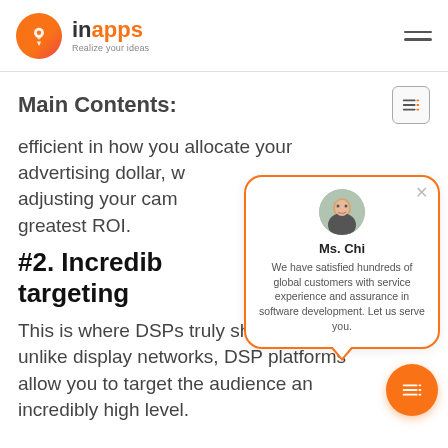[Figure (logo): InApps logo with orange circle icon and text 'inapps Realize your ideas']
Main Contents:
efficient in how you allocate your advertising dollar, w… adjusting your cam… greatest ROI.
#2. Incredib… targeting
This is where DSPs truly shine. You see, unlike display networks, DSP platforms allow you to target the audience an incredibly high level.
[Figure (infographic): Chat popup with photo of Ms. Chi and text: 'We have satisfied hundreds of global customers with service experience and assurance in software development. Let us serve you.']